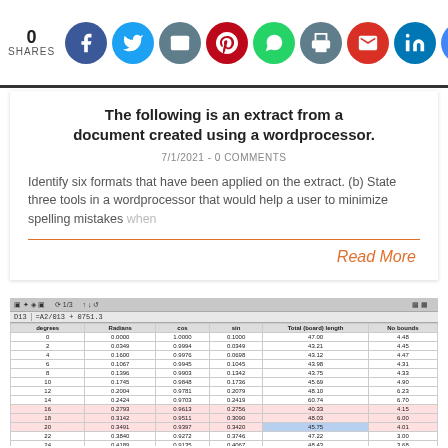0 SHARES [social icons: Facebook, Twitter, Email, Pinterest, WhatsApp, Print, Gmail, LinkedIn, Google]
The following is an extract from a document created using a wordprocessor.
7/1/2021 - 0 COMMENTS
Identify six formats that have been applied on the extract. (b) State three tools in a wordprocessor that would help a user to minimize spelling mistakes when
Read More
[Figure (screenshot): Screenshot of a spreadsheet showing a table with columns for degrees, radians, cos, sin, total (board) length, and no. bounds, with numeric data rows. A formula bar at the top shows a formula. Some rows appear highlighted in pink or blue.]